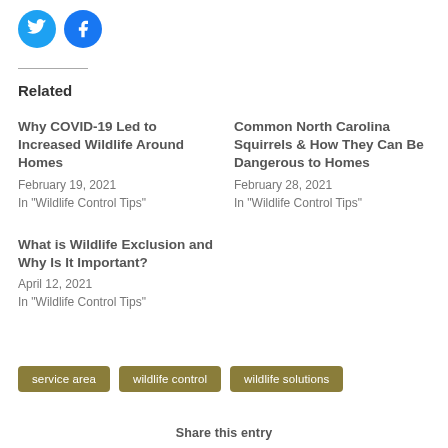[Figure (logo): Twitter and Facebook social share icon circles]
Related
Why COVID-19 Led to Increased Wildlife Around Homes
February 19, 2021
In "Wildlife Control Tips"
Common North Carolina Squirrels & How They Can Be Dangerous to Homes
February 28, 2021
In "Wildlife Control Tips"
What is Wildlife Exclusion and Why Is It Important?
April 12, 2021
In "Wildlife Control Tips"
service area
wildlife control
wildlife solutions
Share this entry